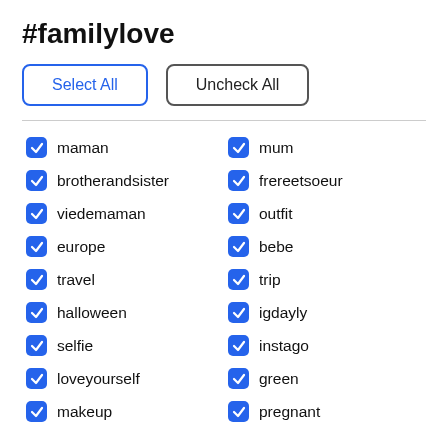#familylove
Select All
Uncheck All
maman
mum
brotherandsister
frereetsoeur
viedemaman
outfit
europe
bebe
travel
trip
halloween
igdayly
selfie
instago
loveyourself
green
makeup
pregnant